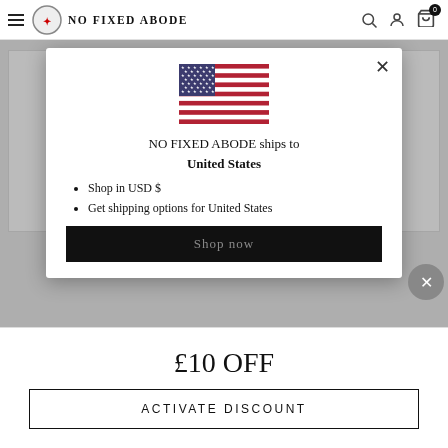NO FIXED ABODE
[Figure (screenshot): Modal dialog with US flag, shipping information for United States, and Shop now button on a clothing retail website]
NO FIXED ABODE ships to United States
Shop in USD $
Get shipping options for United States
Shop now
£10 OFF
ACTIVATE DISCOUNT